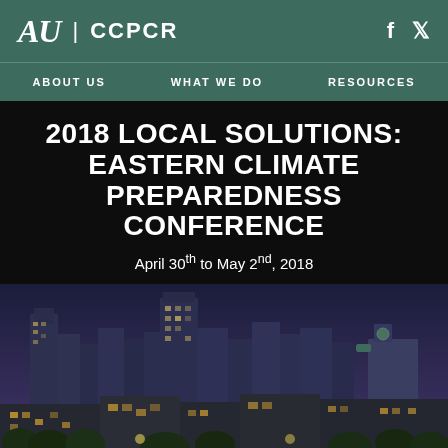AU | CCPCR
ABOUT US  WHAT WE DO  RESOURCES
2018 LOCAL SOLUTIONS: EASTERN CLIMATE PREPAREDNESS CONFERENCE
April 30th to May 2nd, 2018
[Figure (photo): City skyline at dusk/twilight with buildings and trees in foreground]
≡ Conference Menu